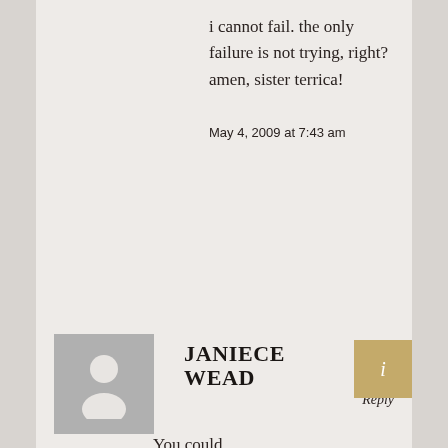i cannot fail. the only failure is not trying, right? amen, sister terrica!
May 4, 2009 at 7:43 am
JANIECE WEAD
Reply
You could